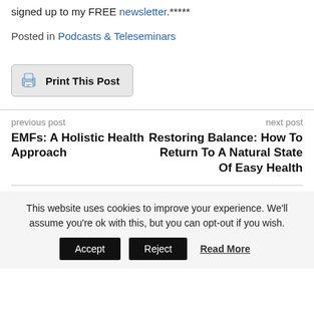signed up to my FREE newsletter.*****
Posted in Podcasts & Teleseminars
Print This Post
previous post
EMFs: A Holistic Health Approach
next post
Restoring Balance: How To Return To A Natural State Of Easy Health
This website uses cookies to improve your experience. We'll assume you're ok with this, but you can opt-out if you wish.
Accept  Reject  Read More